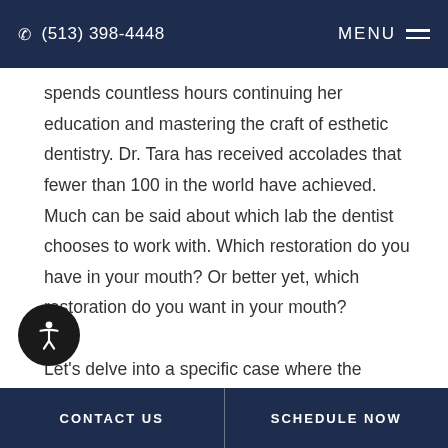(513) 398-4448   MENU
spends countless hours continuing her education and mastering the craft of esthetic dentistry. Dr. Tara has received accolades that fewer than 100 in the world have achieved. Much can be said about which lab the dentist chooses to work with. Which restoration do you have in your mouth? Or better yet, which restoration do you want in your mouth?

Let’s delve into a specific case where the patient didn’t like her dark, undersized tooth (Figure 1).
CONTACT US   SCHEDULE NOW